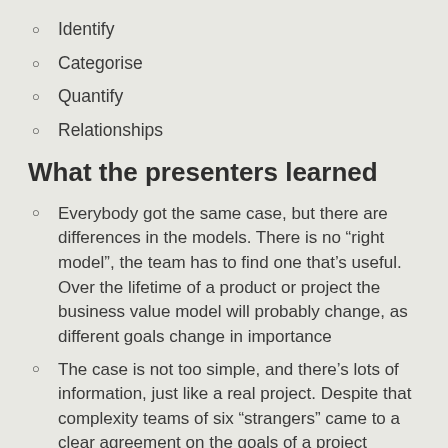Identify
Categorise
Quantify
Relationships
What the presenters learned
Everybody got the same case, but there are differences in the models. There is no “right model”, the team has to find one that’s useful. Over the lifetime of a product or project the business value model will probably change, as different goals change in importance
The case is not too simple, and there’s lots of information, just like a real project. Despite that complexity teams of six “strangers” came to a clear agreement on the goals of a project